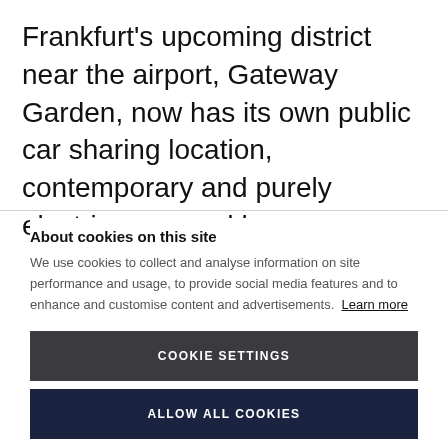Frankfurt's upcoming district near the airport, Gateway Garden, now has its own public car sharing location, contemporary and purely electric, powered by
About cookies on this site
We use cookies to collect and analyse information on site performance and usage, to provide social media features and to enhance and customise content and advertisements. Learn more
COOKIE SETTINGS
ALLOW ALL COOKIES